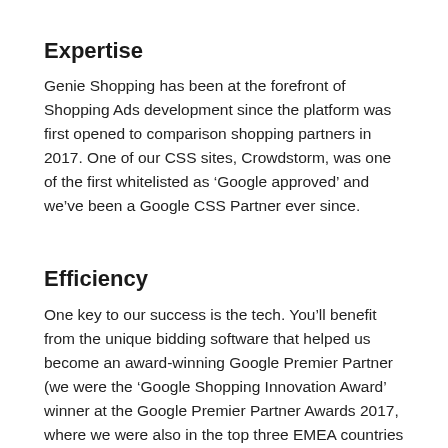Expertise
Genie Shopping has been at the forefront of Shopping Ads development since the platform was first opened to comparison shopping partners in 2017. One of our CSS sites, Crowdstorm, was one of the first whitelisted as ‘Google approved’ and we’ve been a Google CSS Partner ever since.
Efficiency
One key to our success is the tech. You’ll benefit from the unique bidding software that helped us become an award-winning Google Premier Partner (we were the ‘Google Shopping Innovation Award’ winner at the Google Premier Partner Awards 2017, where we were also in the top three EMEA countries for both iSom…